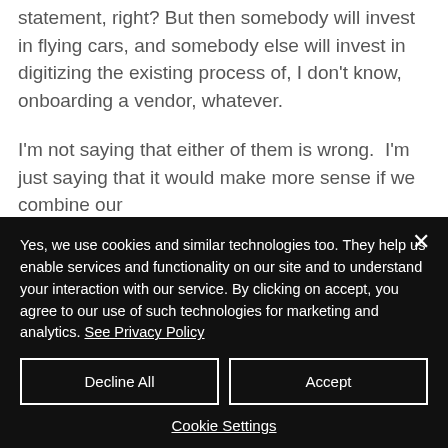statement, right? But then somebody will invest in flying cars, and somebody else will invest in digitizing the existing process of, I don't know, onboarding a vendor, whatever.

I'm not saying that either of them is wrong.  I'm just saying that it would make more sense if we combine our
Yes, we use cookies and similar technologies too. They help us enable services and functionality on our site and to understand your interaction with our service. By clicking on accept, you agree to our use of such technologies for marketing and analytics. See Privacy Policy
Decline All
Accept
Cookie Settings